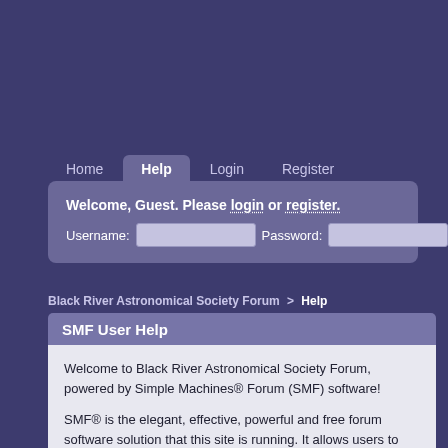Home  Help  Login  Register
Welcome, Guest. Please login or register.
Username:  Password:  Login
Black River Astronomical Society Forum > Help
SMF User Help
Welcome to Black River Astronomical Society Forum, powered by Simple Machines® Forum (SMF) software!

SMF® is the elegant, effective, powerful and free forum software solution that this site is running. It allows users to communicate in discussion topics on a given subject in a clever and organized